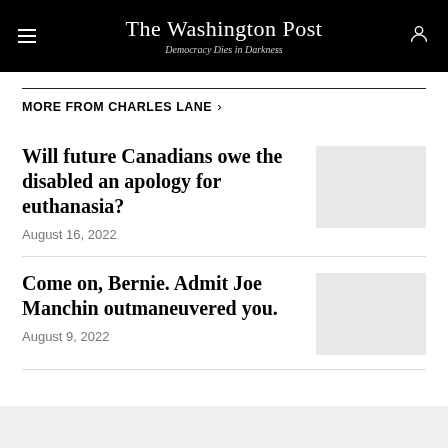The Washington Post — Democracy Dies in Darkness
MORE FROM CHARLES LANE >
Will future Canadians owe the disabled an apology for euthanasia?
August 16, 2022
Come on, Bernie. Admit Joe Manchin outmaneuvered you.
August 9, 2022